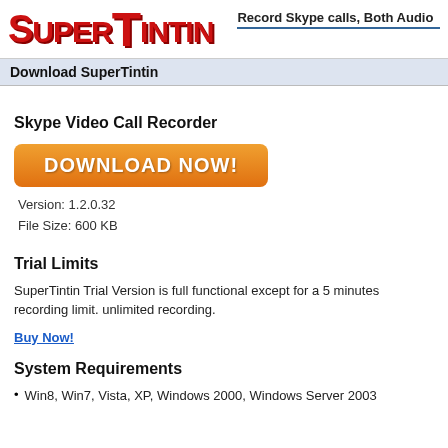SuperTintin — Record Skype calls, Both Audio
Download SuperTintin
Skype Video Call Recorder
[Figure (other): Orange Download Now button]
Version: 1.2.0.32
File Size: 600 KB
Trial Limits
SuperTintin Trial Version is full functional except for a 5 minutes recording limit. unlimited recording.
Buy Now!
System Requirements
Win8, Win7, Vista, XP, Windows 2000, Windows Server 2003